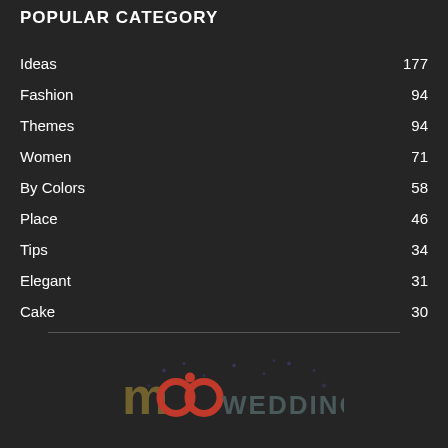POPULAR CATEGORY
Ideas 177
Fashion 94
Themes 94
Women 71
By Colors 58
Place 46
Tips 34
Elegant 31
Cake 30
[Figure (logo): Wedding website logo with stylized 'm' and 'oo' letters in red/orange and text WEDDING in dark teal/grey tones]